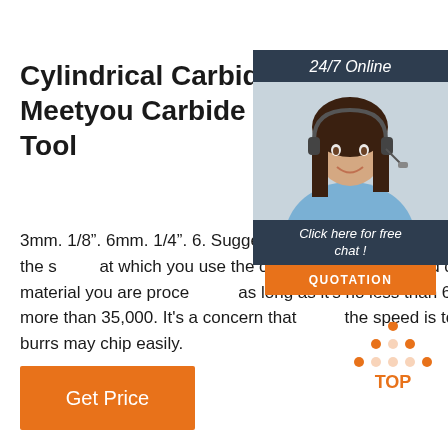Cylindrical Carbide Burr Meetyou Carbide Cutting Tool
[Figure (photo): Customer service representative woman with headset, chat widget overlay with '24/7 Online' header, 'Click here for free chat!' text, and orange QUOTATION button]
3mm. 1/8". 6mm. 1/4". 6. Suggested speed. On the general principle, the speed at which you use the carbide burr will depend on the material you are processing, as long as it's no less than 6000 and more than 35,000. It's a concern that while the speed is too slow, your burrs may chip easily.
[Figure (logo): Orange dotted triangle 'TOP' back-to-top button icon]
Get Price